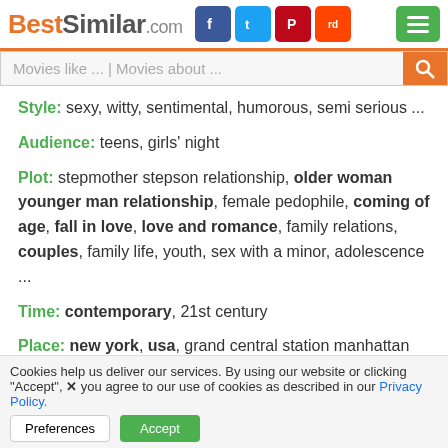BestSimilar.com
Movies like ... | Movies about ...
Style: sexy, witty, sentimental, humorous, semi serious ...
Audience: teens, girls' night
Plot: stepmother stepson relationship, older woman younger man relationship, female pedophile, coming of age, fall in love, love and romance, family relations, couples, family life, youth, sex with a minor, adolescence ...
Time: contemporary, 21st century
Place: new york, usa, grand central station manhattan new york city, manhattan new york city
[Figure (screenshot): Movie thumbnail with play arrows and text MOVIE]
Cookies help us deliver our services. By using our website or clicking "Accept", you agree to our use of cookies as described in our Privacy Policy.